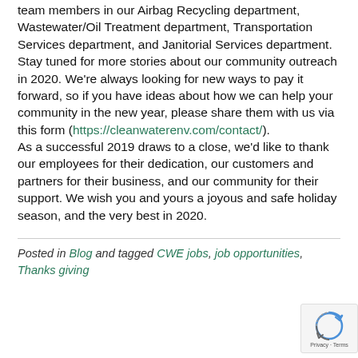team members in our Airbag Recycling department, Wastewater/Oil Treatment department, Transportation Services department, and Janitorial Services department.
Stay tuned for more stories about our community outreach in 2020. We're always looking for new ways to pay it forward, so if you have ideas about how we can help your community in the new year, please share them with us via this form (https://cleanwaterenv.com/contact/).
As a successful 2019 draws to a close, we'd like to thank our employees for their dedication, our customers and partners for their business, and our community for their support. We wish you and yours a joyous and safe holiday season, and the very best in 2020.
Posted in Blog and tagged CWE jobs, job opportunities, Thanks giving